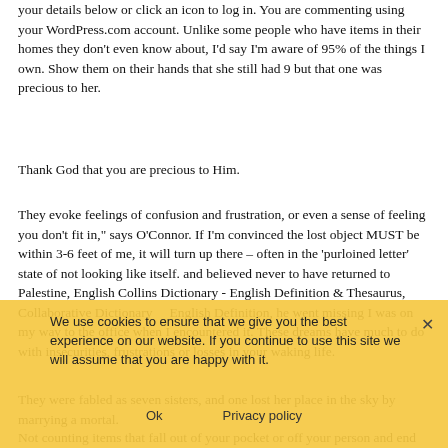your details below or click an icon to log in. You are commenting using your WordPress.com account. Unlike some people who have items in their homes they don't even know about, I'd say I'm aware of 95% of the things I own. Show them on their hands that she still had 9 but that one was precious to her.
Thank God that you are precious to Him.
They evoke feelings of confusion and frustration, or even a sense of feeling you don't fit in," says O'Connor. If I'm convinced the lost object MUST be within 3-6 feet of me, it will turn up there – often in the 'purloined letter' state of not looking like itself. and believed never to have returned to Palestine, English Collins Dictionary - English Definition & Thesaurus, Collaborative Dictionary     English Definition, he went missing I was on my way to the office when I encountered it. These dreams have much to do with insecurities, frustrations or losses in your waking life.
They were fabled as seven sisters, and one lost her place in the sky by marrying a mortal.
Not counting items that fall out of your pocket or off your person and end up left behind, I believe lost things occur through one of two failures, depending upon the nature of the thing that's been misplaced. Absentee Ballot vs. Mail-In Ballot: Is There A Difference? Now five years down the track she still can't
We use cookies to ensure that we give you the best experience on our website. If you continue to use this site we will assume that you are happy with it.
Ok    Privacy policy